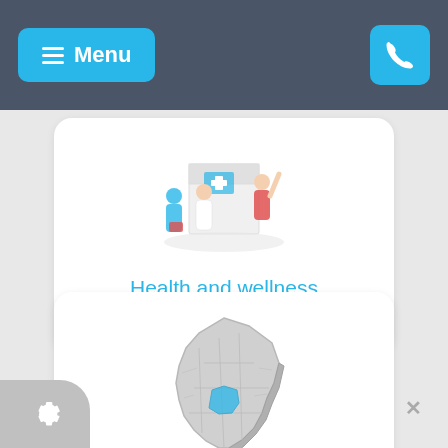Menu
[Figure (illustration): Isometric illustration of health and wellness scene with medical professionals and equipment]
Health and wellness website design
[Figure (map): 3D map of England with Oxfordshire county highlighted in blue]
Oxfordshire web design